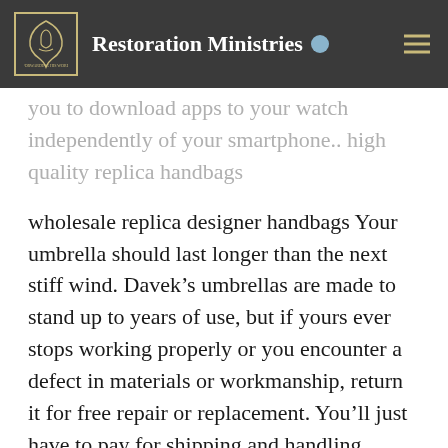Restoration Ministries
you to download apps to your watch independently of your smartphone.. high quality replica handbags
wholesale replica designer handbags Your umbrella should last longer than the next stiff wind. Davek’s umbrellas are made to stand up to years of use, but if yours ever stops working properly or you encounter a defect in materials or workmanship, return it for free repair or replacement. You’ll just have to pay for shipping and handling. wholesale replica designer handbags